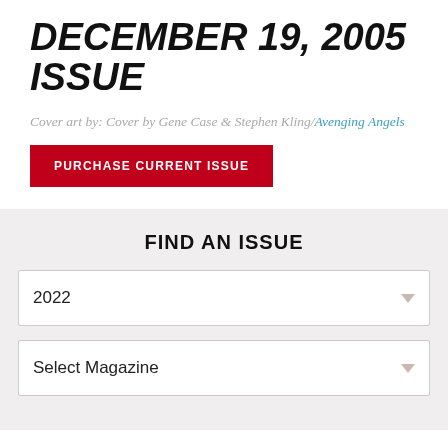DECEMBER 19, 2005 ISSUE
Cover art by: Cover by Gene Case & Stephen Kling/Avenging Angels
PURCHASE CURRENT ISSUE
FIND AN ISSUE
2022
Select Magazine